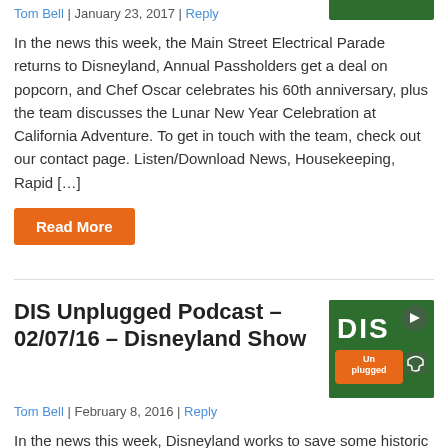[Figure (photo): DIS Unplugged podcast logo thumbnail (partial, top portion visible)]
Tom Bell | January 23, 2017 | Reply
In the news this week, the Main Street Electrical Parade returns to Disneyland, Annual Passholders get a deal on popcorn, and Chef Oscar celebrates his 60th anniversary, plus the team discusses the Lunar New Year Celebration at California Adventure. To get in touch with the team, check out our contact page. Listen/Download News, Housekeeping, Rapid […]
Read More
DIS Unplugged Podcast – 02/07/16 – Disneyland Show
[Figure (logo): DIS Unplugged podcast logo — green background with DIS text and orange Unplugged badge]
Tom Bell | February 8, 2016 | Reply
In the news this week, Disneyland works to save some historic trees, Luigi gets ready for his big return to California Adventure and Michael shares the story behind Disney's classic Super Bowl commercial series, plus the team helps listener Karin